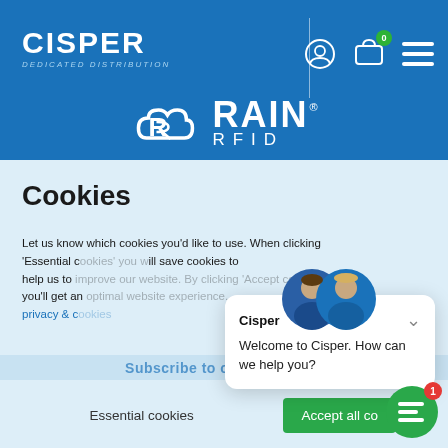[Figure (screenshot): Cisper website header with blue background, CISPER DEDICATED DISTRIBUTION logo on left, user/cart/menu icons on right, RAIN RFID logo in centre-bottom of header]
Cookies
Let us know which cookies you'd like to use. When clicking 'Essential cookies' you will save cookies to help us to improve our website. By clicking 'Accept cookies' you'll get an optimal website experience. privacy & cookies
[Figure (screenshot): Chat popup from Cisper showing two staff avatars, name 'Cisper' and message 'Welcome to Cisper. How can we help you?' with a chevron collapse icon, and a green chat bubble button with badge '1' in bottom-right corner]
Subscribe to our newsletter
Essential cookies
Accept all co